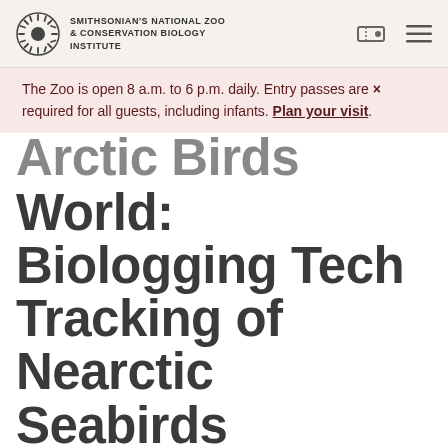SMITHSONIAN'S NATIONAL ZOO & CONSERVATION BIOLOGY INSTITUTE
The Zoo is open 8 a.m. to 6 p.m. daily. Entry passes are required for all guests, including infants. Plan your visit.
Arctic Birds Connect the World: Biologging Tech Tracking of Nearctic Seabirds Surprise Scientists with Diverse Migratory Paths from Shared Breeding Site